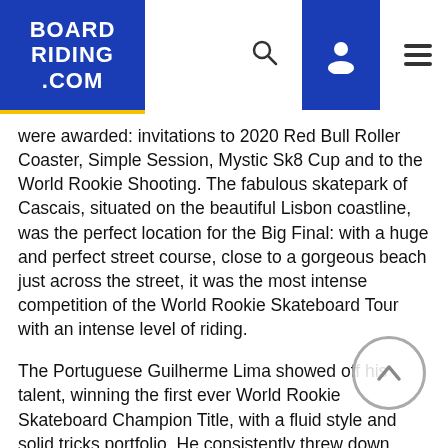BOARD RIDING .COM
were awarded: invitations to 2020 Red Bull Roller Coaster, Simple Session, Mystic Sk8 Cup and to the World Rookie Shooting. The fabulous skatepark of Cascais, situated on the beautiful Lisbon coastline, was the perfect location for the Big Final: with a huge and perfect street course, close to a gorgeous beach just across the street, it was the most intense competition of the World Rookie Skateboard Tour with an intense level of riding.
The Portuguese Guilherme Lima showed off his talent, winning the first ever World Rookie Skateboard Champion Title, with a fluid style and solid tricks portfolio. He consistently threw down technical tricks, starting with frontside feeble on the stair set, and included 360 flip over the pyramid, frontside lip on the kinked rail and flip backside lip slide, culminating in the best trick section with hard flip frontside board, impressing judges and spectators. Santino Exenberger from Austria took second place and portuguese Daniel Santos rounded off the podium and delivered consistent